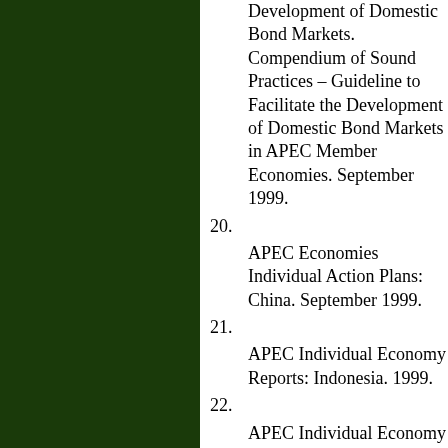Development of Domestic Bond Markets. Compendium of Sound Practices – Guideline to Facilitate the Development of Domestic Bond Markets in APEC Member Economies. September 1999.
20. APEC Economies Individual Action Plans: China. September 1999.
21. APEC Individual Economy Reports: Indonesia. 1999.
22. APEC Individual Economy Reports: Malaysia. 1999.